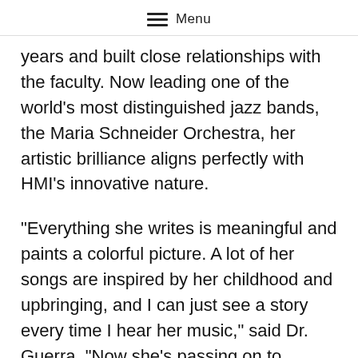Menu
years and built close relationships with the faculty. Now leading one of the world’s most distinguished jazz bands, the Maria Schneider Orchestra, her artistic brilliance aligns perfectly with HMI’s innovative nature.
“Everything she writes is meaningful and paints a colorful picture. A lot of her songs are inspired by her childhood and upbringing, and I can just see a story every time I hear her music,” said Dr. Guerra. “Now she’s passing on to students this idea that musical emotion ought to come from within and stem from personal experiences.”
As the concert began, The HMI Orchestra interpreted